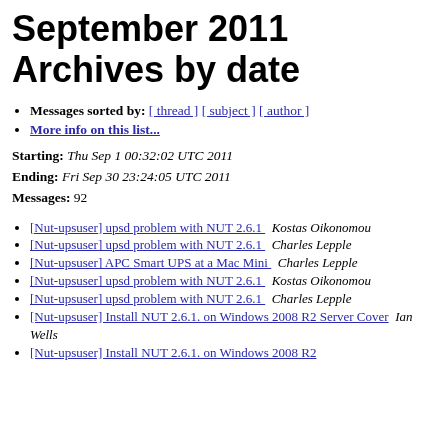September 2011 Archives by date
Messages sorted by: [ thread ] [ subject ] [ author ]
More info on this list...
Starting: Thu Sep 1 00:32:02 UTC 2011
Ending: Fri Sep 30 23:24:05 UTC 2011
Messages: 92
[Nut-upsuser] upsd problem with NUT 2.6.1   Kostas Oikonomou
[Nut-upsuser] upsd problem with NUT 2.6.1   Charles Lepple
[Nut-upsuser] APC Smart UPS at a Mac Mini   Charles Lepple
[Nut-upsuser] upsd problem with NUT 2.6.1   Kostas Oikonomou
[Nut-upsuser] upsd problem with NUT 2.6.1   Charles Lepple
[Nut-upsuser] Install NUT 2.6.1. on Windows 2008 R2 Server Cover   Ian Wells
[Nut-upsuser] Install NUT 2.6.1. on Windows 2008 R2 ...